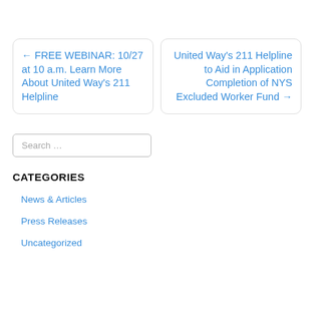← FREE WEBINAR: 10/27 at 10 a.m. Learn More About United Way's 211 Helpline
United Way's 211 Helpline to Aid in Application Completion of NYS Excluded Worker Fund →
Search …
CATEGORIES
News & Articles
Press Releases
Uncategorized